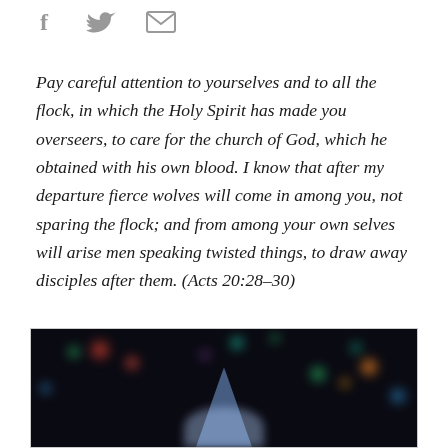[Figure (illustration): Row of three social sharing icons: Facebook (f), Twitter (bird), and email (envelope), in gray]
Pay careful attention to yourselves and to all the flock, in which the Holy Spirit has made you overseers, to care for the church of God, which he obtained with his own blood. I know that after my departure fierce wolves will come in among you, not sparing the flock; and from among your own selves will arise men speaking twisted things, to draw away disciples after them. (Acts 20:28–30)
[Figure (photo): Dark photograph with colorful bokeh lights and a glowing triangular or arrow-shaped light form at the bottom center, suggesting a person or figure illuminated on a dark stage]